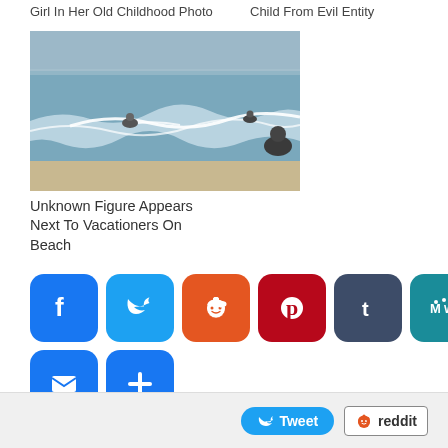Girl In Her Old Childhood Photo
Child From Evil Entity
[Figure (photo): Beach scene with waves and figures on watercraft in the ocean]
Unknown Figure Appears Next To Vacationers On Beach
[Figure (infographic): Social sharing buttons: Facebook, Twitter, Reddit, Pinterest, Tumblr, MeWe, WhatsApp, WeChat, Email, More]
[Figure (infographic): Tweet button and Reddit button at bottom of page]